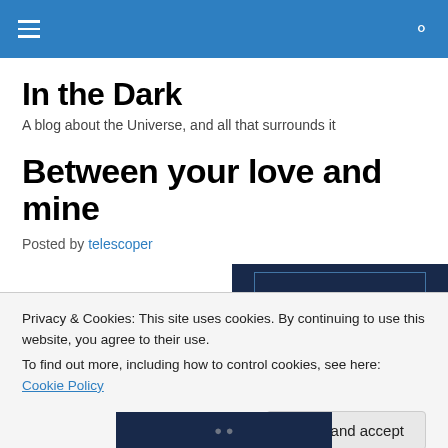Navigation bar with hamburger menu and search icon
In the Dark
A blog about the Universe, and all that surrounds it
Between your love and mine
Posted by telescoper
[Figure (photo): Partial view of a dark blue image, partially obscured by cookie banner]
Privacy & Cookies: This site uses cookies. By continuing to use this website, you agree to their use.
To find out more, including how to control cookies, see here: Cookie Policy